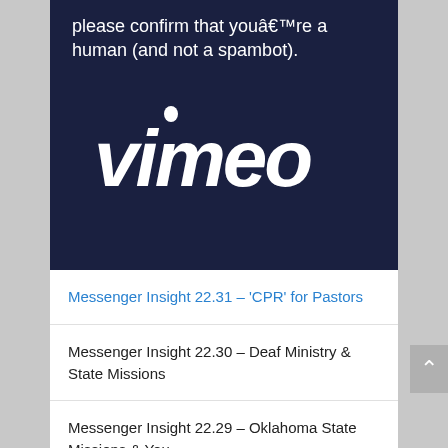please confirm that youâ€™re a human (and not a spambot).
[Figure (logo): Vimeo logo in white italic bold text on dark navy background]
Messenger Insight 22.31 – 'CPR' for Pastors
Messenger Insight 22.30 – Deaf Ministry & State Missions
Messenger Insight 22.29 – Oklahoma State Missions & You
Messenger Insight 22.28 – African American Ministry Advancing the Gospel